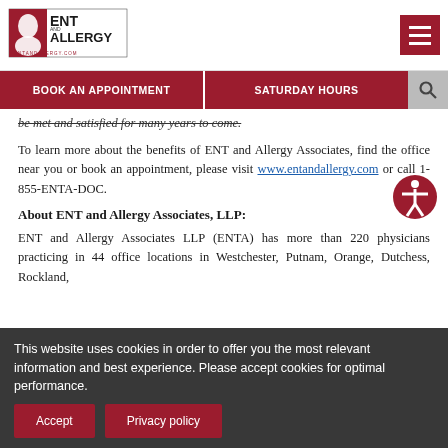[Figure (logo): ENT and Allergy Associates logo with red and white design and text ENTANDALERGY.COM]
BOOK AN APPOINTMENT | SATURDAY HOURS
be met and satisfied for many years to come.
To learn more about the benefits of ENT and Allergy Associates, find the office near you or book an appointment, please visit www.entandallergy.com or call 1-855-ENTA-DOC.
About ENT and Allergy Associates, LLP:
ENT and Allergy Associates LLP (ENTA) has more than 220 physicians practicing in 44 office locations in Westchester, Putnam, Orange, Dutchess, Rockland,
This website uses cookies in order to offer you the most relevant information and best experience. Please accept cookies for optimal performance.